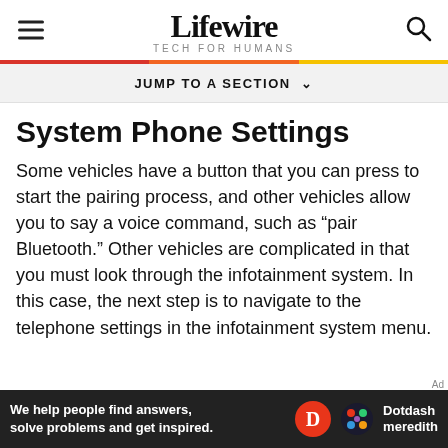Lifewire TECH FOR HUMANS
JUMP TO A SECTION
System Phone Settings
Some vehicles have a button that you can press to start the pairing process, and other vehicles allow you to say a voice command, such as "pair Bluetooth." Other vehicles are complicated in that you must look through the infotainment system. In this case, the next step is to navigate to the telephone settings in the infotainment system menu.
[Figure (other): Dotdash Meredith advertisement banner: 'We help people find answers, solve problems and get inspired.' with Dotdash Meredith logo.]